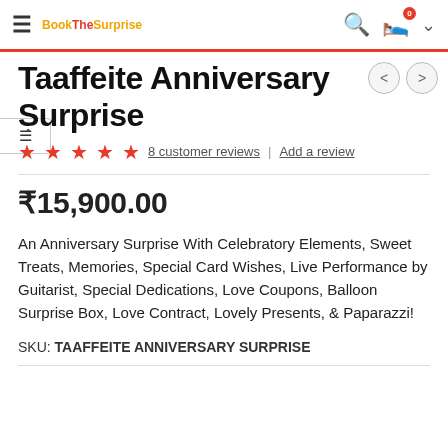Book The Surprise — navigation bar with logo, search, cart (0), and expand arrow
Taaffeite Anniversary Surprise
8 customer reviews | Add a review
₹15,900.00
An Anniversary Surprise With Celebratory Elements, Sweet Treats, Memories, Special Card Wishes, Live Performance by Guitarist, Special Dedications, Love Coupons, Balloon Surprise Box, Love Contract, Lovely Presents, & Paparazzi!
SKU: TAAFFEITE ANNIVERSARY SURPRISE